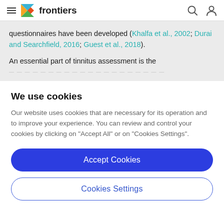frontiers
questionnaires have been developed (Khalfa et al., 2002; Durai and Searchfield, 2016; Guest et al., 2018).
An essential part of tinnitus assessment is the
We use cookies
Our website uses cookies that are necessary for its operation and to improve your experience. You can review and control your cookies by clicking on "Accept All" or on "Cookies Settings".
Accept Cookies
Cookies Settings